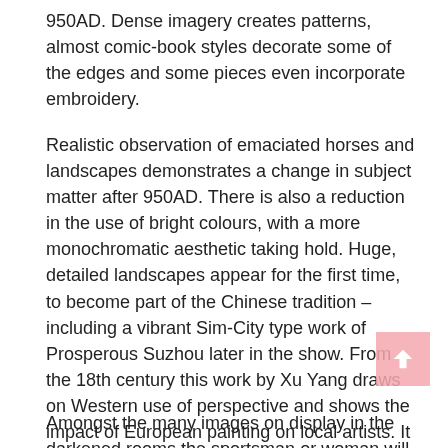950AD. Dense imagery creates patterns, almost comic-book styles decorate some of the edges and some pieces even incorporate embroidery.
Realistic observation of emaciated horses and landscapes demonstrates a change in subject matter after 950AD. There is also a reduction in the use of bright colours, with a more monochromatic aesthetic taking hold. Huge, detailed landscapes appear for the first time, to become part of the Chinese tradition – including a vibrant Sim-City type work of Prosperous Suzhou later in the show. From the 18th century this work by Xu Yang draws on Western use of perspective and shows the impact of European painting on local artists. It seems amazing that any of these works on silk have survived. It appears that many were created for ceremonial uses and so were on display relatively little even when they were newly created.
Amongst the many images on display in the darkened rooms the sportsman or woman will be attracted to one in particular.